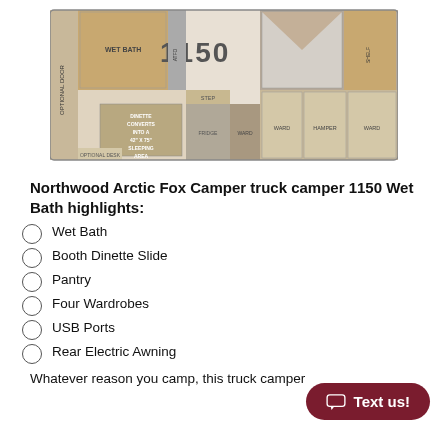[Figure (engineering-diagram): Floor plan diagram of Northwood Arctic Fox Camper truck camper 1150 Wet Bath, showing layout with wet bath, booth dinette that converts to sleeping area, wardrobes, hamper, shelves, fridge, and optional features.]
Northwood Arctic Fox Camper truck camper 1150 Wet Bath highlights:
Wet Bath
Booth Dinette Slide
Pantry
Four Wardrobes
USB Ports
Rear Electric Awning
Whatever reason you camp, this truck camper